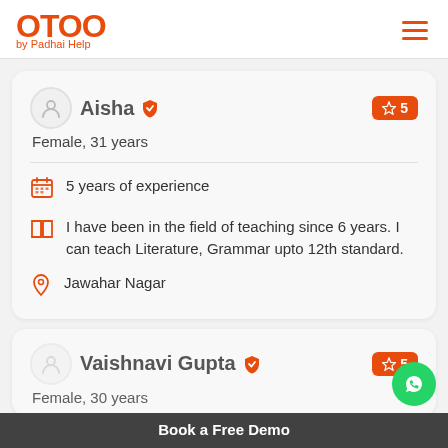[Figure (logo): OTOO by Padhai Help logo in orange]
Aisha ✓ ☆ 5
Female, 31 years
5 years of experience
I have been in the field of teaching since 6 years. I can teach Literature, Grammar upto 12th standard.
Jawahar Nagar
Vaishnavi Gupta ✓ ☆ 5
Female, 30 years
Book a Free Demo